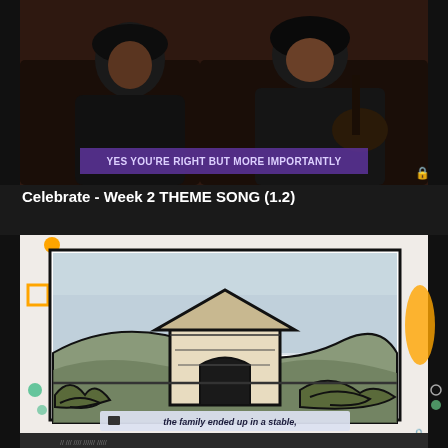[Figure (screenshot): Video screenshot showing two people sitting together, one appears to hold a guitar. Purple subtitle bar reads 'YES YOU'RE RIGHT BUT MORE IMPORTANTLY'. Lock icon visible bottom right.]
Celebrate - Week 2 THEME SONG (1.2)
[Figure (screenshot): Animated/sketch-style video showing a hand-drawn scene of a barn or stable structure on a hillside with dark sketch lines, colorful border with orange and teal decorative elements. Subtitle reads 'the family ended up in a stable,'. Lock icon bottom right.]